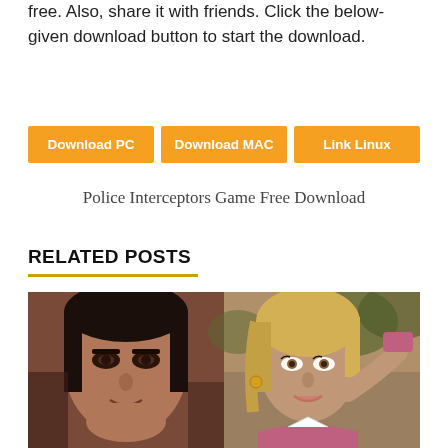free. Also, share it with friends. Click the below-given download button to start the download.
[Figure (other): Three orange download buttons labeled: Download PC, Download MAC, Link Linux]
Police Interceptors Game Free Download
RELATED POSTS
[Figure (photo): Two video game characters side by side: left is a dark-haired male character with dramatic eye makeup; right is a blonde female character in a pink jacket posing against an outdoor background.]